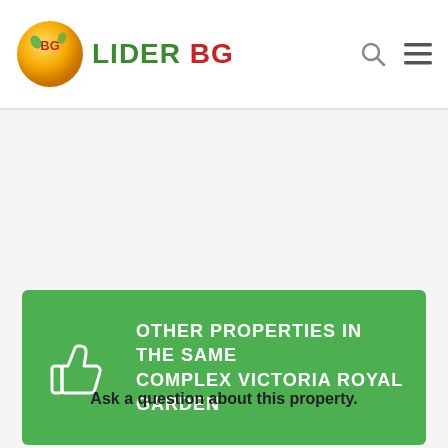LIDER BG
[Figure (infographic): Green banner with thumbs up icon and text: OTHER PROPERTIES IN THE SAME COMPLEX VICTORIA ROYAL GARDEN]
Ask a question about this property.